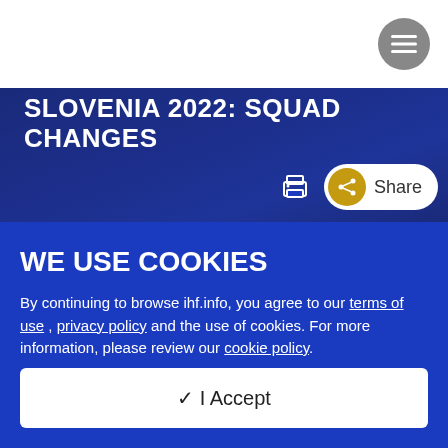[Figure (other): Menu button (hamburger icon) in top-right corner]
SLOVENIA 2022: SQUAD CHANGES
[Figure (other): Print icon and Share button with gold circle]
WE USE COOKIES
By continuing to browse ihf.info, you agree to our terms of use , privacy policy and the use of cookies. For more information, please review our cookie policy.
✓ I Accept